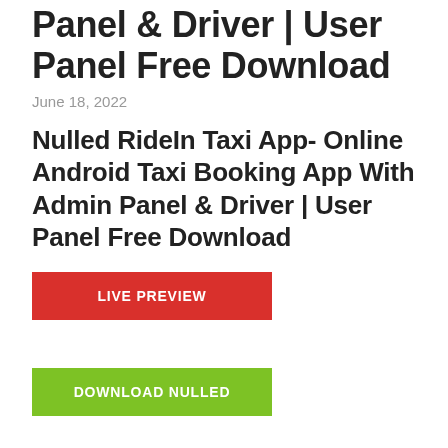Panel & Driver | User Panel Free Download
June 18, 2022
Nulled RideIn Taxi App- Online Android Taxi Booking App With Admin Panel & Driver | User Panel Free Download
LIVE PREVIEW
DOWNLOAD NULLED